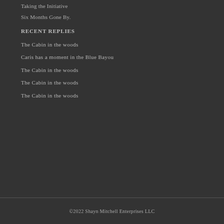Taking the Initiative
Six Months Gone By.
RECENT REPLIES
The Cabin in the woods
Caris has a moment in the Blue Bayou
The Cabin in the woods
The Cabin in the woods
The Cabin in the woods
©2022 Shayn Mitchell Enterprises LLC